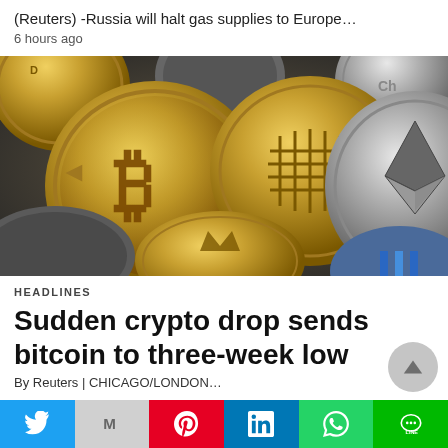(Reuters) -Russia will halt gas supplies to Europe…
6 hours ago
[Figure (photo): Photo of multiple cryptocurrency coins including Bitcoin (gold, with B symbol), Ethereum (silver, with diamond logo and 'ethereum' text), Dogecoin (gold, with dog/Doge logo), and other altcoins arranged together on a dark surface.]
HEADLINES
Sudden crypto drop sends bitcoin to three-week low
By Reuters | CHICAGO/LONDON…
[Figure (other): Social media share bar with Twitter, Gmail, Pinterest, LinkedIn, WhatsApp, and LINE buttons]